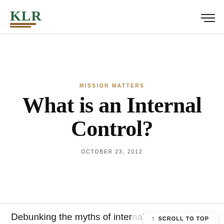KLR
MISSION MATTERS
What is an Internal Control?
OCTOBER 23, 2012
Debunking the myths of internal